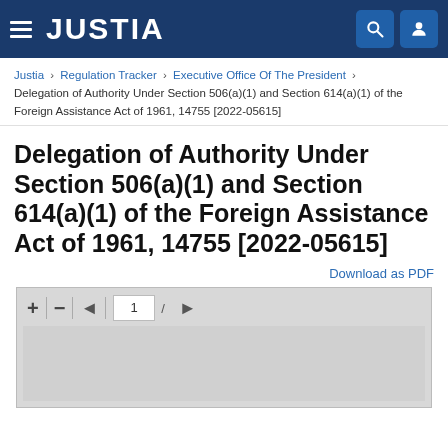JUSTIA
Justia › Regulation Tracker › Executive Office Of The President › Delegation of Authority Under Section 506(a)(1) and Section 614(a)(1) of the Foreign Assistance Act of 1961, 14755 [2022-05615]
Delegation of Authority Under Section 506(a)(1) and Section 614(a)(1) of the Foreign Assistance Act of 1961, 14755 [2022-05615]
Download as PDF
[Figure (screenshot): PDF viewer toolbar with zoom in (+), zoom out (-), previous page (◄), page number input showing 1, next page (►) controls on a light gray background]